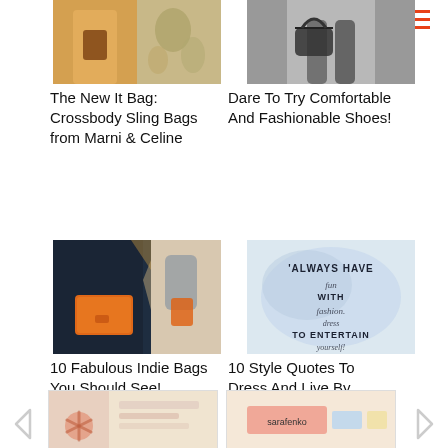[Figure (photo): Fashion photo of woman with crossbody sling bag, floral outfit]
The New It Bag: Crossbody Sling Bags from Marni & Celine
[Figure (photo): Black and white photo of person carrying handbag]
Dare To Try Comfortable And Fashionable Shoes!
[Figure (photo): Person holding orange clutch bag with reflection image]
10 Fabulous Indie Bags You Should See!
[Figure (photo): Fashion quote image: 'ALWAYS HAVE fun WITH fashion. dress TO ENTERTAIN yourself!']
10 Style Quotes To Dress And Live By
[Figure (photo): Partial image at bottom left - fashion accessories]
[Figure (photo): Partial image at bottom right - Sarafenko label visible]